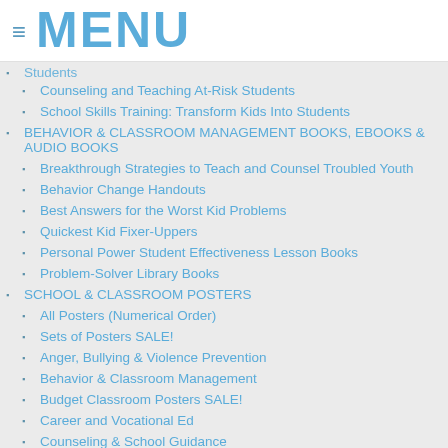≡ MENU
Students (partial, cut off at top)
Counseling and Teaching At-Risk Students
School Skills Training: Transform Kids Into Students
BEHAVIOR & CLASSROOM MANAGEMENT BOOKS, EBOOKS & AUDIO BOOKS
Breakthrough Strategies to Teach and Counsel Troubled Youth
Behavior Change Handouts
Best Answers for the Worst Kid Problems
Quickest Kid Fixer-Uppers
Personal Power Student Effectiveness Lesson Books
Problem-Solver Library Books
SCHOOL & CLASSROOM POSTERS
All Posters (Numerical Order)
Sets of Posters SALE!
Anger, Bullying & Violence Prevention
Behavior & Classroom Management
Budget Classroom Posters SALE!
Career and Vocational Ed
Counseling & School Guidance
Discipline & Behavior (partial, cut off at bottom)